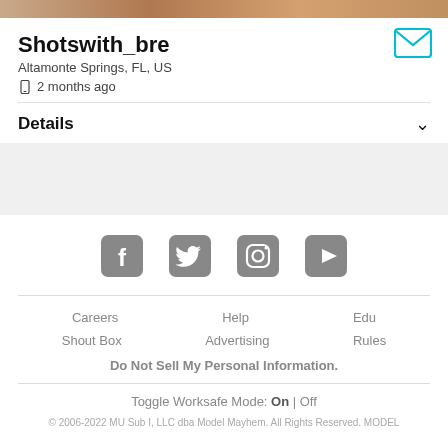[Figure (photo): Partial photo strip at the top of the page]
Shotswith_bre
Altamonte Springs, FL, US
2 months ago
Details
[Figure (infographic): Social media icons: Facebook, Twitter, Instagram, YouTube]
Careers   Help   Edu
Shout Box   Advertising   Rules
Do Not Sell My Personal Information.
Toggle Worksafe Mode: On | Off
© 2006-2022 MU Sub I, LLC dba Model Mayhem. All Rights Reserved. MODEL